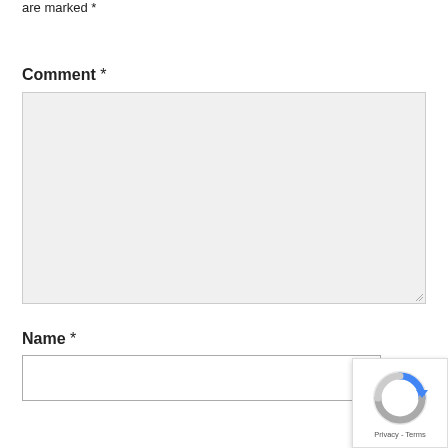are marked *
Comment *
[Figure (screenshot): Comment text area input field (empty, light gray background) with resize handle at bottom right]
Name *
[Figure (screenshot): Name text input field (empty, white background with border)]
[Figure (screenshot): Google reCAPTCHA badge with logo and Privacy-Terms text]